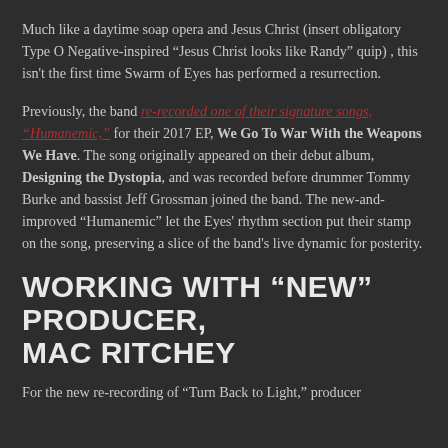Much like a daytime soap opera and Jesus Christ (insert obligatory Type O Negative-inspired “Jesus Christ looks like Randy” quip) , this isn't the first time Swarm of Eyes has performed a resurrection.
Previously, the band re-recorded one of their signature songs, “Humanemic,” for their 2017 EP, We Go To War With the Weapons We Have. The song originally appeared on their debut album, Designing the Dystopia, and was recorded before drummer Tommy Burke and bassist Jeff Grossman joined the band. The new-and-improved “Humanemic” let the Eyes' rhythm section put their stamp on the song, preserving a slice of the band's live dynamic for posterity.
WORKING WITH “NEW” PRODUCER, MAC RITCHEY
For the new re-recording of “Turn Back to Light,” producer